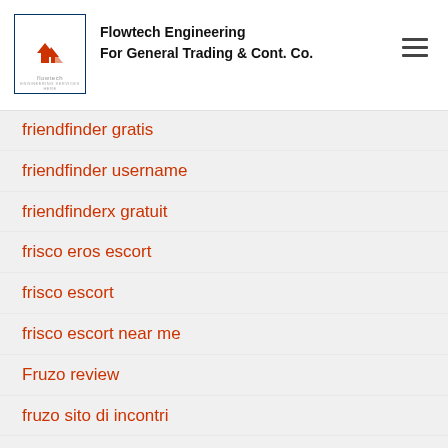Flowtech Engineering For General Trading & Cont. Co.
friendfinder gratis
friendfinder username
friendfinderx gratuit
frisco eros escort
frisco escort
frisco escort near me
Fruzo review
fruzo sito di incontri
fuck marry kill dating
fuck marry kill italia
Fuckbookhookup visitors